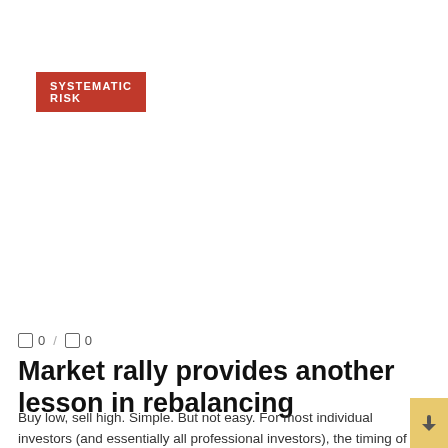SYSTEMATIC RISK
0 / 0
Market rally provides another lesson in rebalancing
Buy low, sell high. Simple. But not easy. For most individual investors (and essentially all professional investors), the timing of the market and the choice of ...